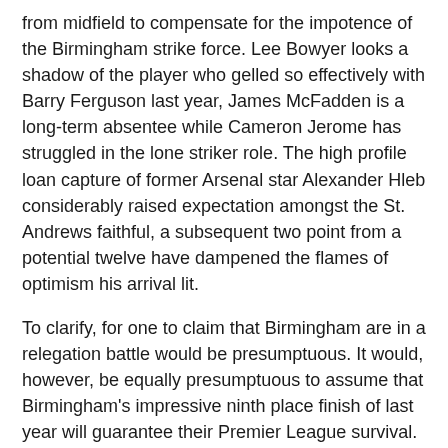from midfield to compensate for the impotence of the Birmingham strike force. Lee Bowyer looks a shadow of the player who gelled so effectively with Barry Ferguson last year, James McFadden is a long-term absentee while Cameron Jerome has struggled in the lone striker role. The high profile loan capture of former Arsenal star Alexander Hleb considerably raised expectation amongst the St. Andrews faithful, a subsequent two point from a potential twelve have dampened the flames of optimism his arrival lit.
To clarify, for one to claim that Birmingham are in a relegation battle would be presumptuous. It would, however, be equally presumptuous to assume that Birmingham's impressive ninth place finish of last year will guarantee their Premier League survival. The division is as unforgiving as it is unpredictable; another two wins from their next 19 games would leave the Blues embroiled in the relegation scrap many expected of them last season.
Champions in peril